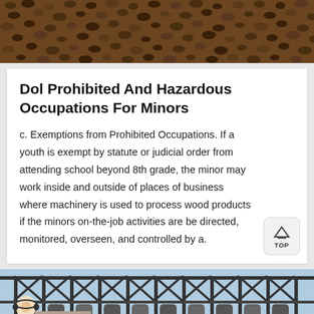[Figure (photo): Close-up photograph of dark brown granular material, likely wood chips or mulch, filling the frame from edge to edge.]
Dol Prohibited And Hazardous Occupations For Minors
c. Exemptions from Prohibited Occupations. If a youth is exempt by statute or judicial order from attending school beyond 8th grade, the minor may work inside and outside of places of business where machinery is used to process wood products if the minors on-the-job activities are be directed, monitored, overseen, and controlled by a.
[Figure (photo): Industrial machinery or conveyor equipment under a metal truss structure with a blue sky background, and a customer service representative with headset overlaid at the bottom left.]
Message
Online Chat